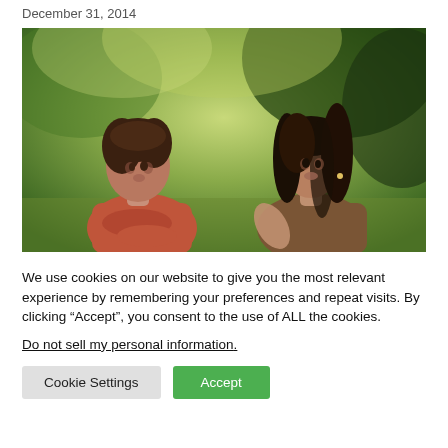December 31, 2014
[Figure (photo): Two women facing each other outdoors, appearing to have a conversation or discussion, with a blurred green background. One woman wears an orange/red sweater with arms crossed; the other wears a brown top with long dark curly hair.]
We use cookies on our website to give you the most relevant experience by remembering your preferences and repeat visits. By clicking “Accept”, you consent to the use of ALL the cookies.
Do not sell my personal information.
Cookie Settings
Accept